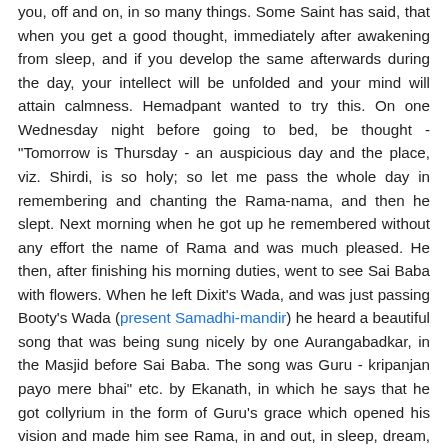you, off and on, in so many things. Some Saint has said, that when you get a good thought, immediately after awakening from sleep, and if you develop the same afterwards during the day, your intellect will be unfolded and your mind will attain calmness. Hemadpant wanted to try this. On one Wednesday night before going to bed, be thought - "Tomorrow is Thursday - an auspicious day and the place, viz. Shirdi, is so holy; so let me pass the whole day in remembering and chanting the Rama-nama, and then he slept. Next morning when he got up he remembered without any effort the name of Rama and was much pleased. He then, after finishing his morning duties, went to see Sai Baba with flowers. When he left Dixit's Wada, and was just passing Booty's Wada (present Samadhi-mandir) he heard a beautiful song that was being sung nicely by one Aurangabadkar, in the Masjid before Sai Baba. The song was Guru - kripanjan payo mere bhai" etc. by Ekanath, in which he says that he got collyrium in the form of Guru's grace which opened his vision and made him see Rama, in and out, in sleep, dream, and waking state and everywhere. There were so many songs; and why was this song particularly chosen by Aurangabadkar, a devotee of Sai